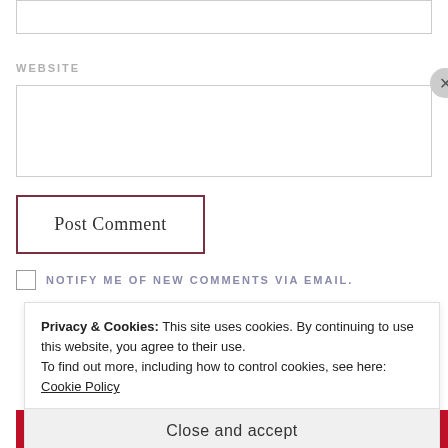WEBSITE
Post Comment
NOTIFY ME OF NEW COMMENTS VIA EMAIL.
Privacy & Cookies: This site uses cookies. By continuing to use this website, you agree to their use.
To find out more, including how to control cookies, see here:
Cookie Policy
Close and accept